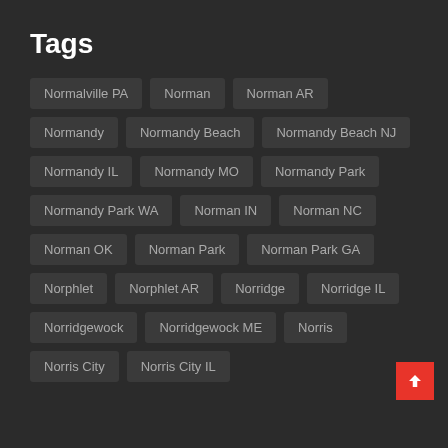Tags
Normalville PA
Norman
Norman AR
Normandy
Normandy Beach
Normandy Beach NJ
Normandy IL
Normandy MO
Normandy Park
Normandy Park WA
Norman IN
Norman NC
Norman OK
Norman Park
Norman Park GA
Norphlet
Norphlet AR
Norridge
Norridge IL
Norridgewock
Norridgewock ME
Norris
Norris City
Norris City IL